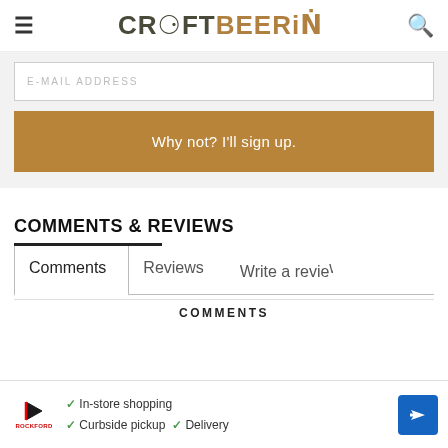CRAFTBEERING
E-MAIL ADDRESS
Why not? I'll sign up.
COMMENTS & REVIEWS
Comments
Reviews
Write a review
COMMENTS
[Figure (screenshot): Advertisement banner with play button icon, store logo, checkmarks for In-store shopping, Curbside pickup, Delivery, and a blue navigation arrow icon]